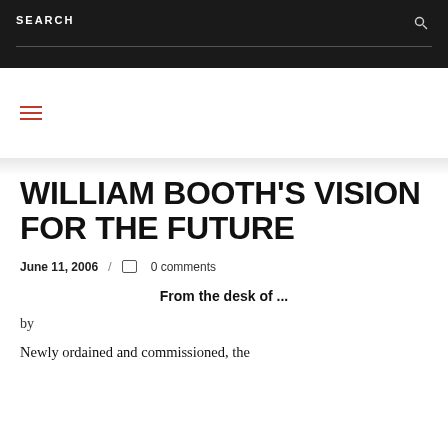SEARCH
≡
WILLIAM BOOTH'S VISION FOR THE FUTURE
June 11, 2006 / 0 comments
From the desk of ...
by
Newly ordained and commissioned, the